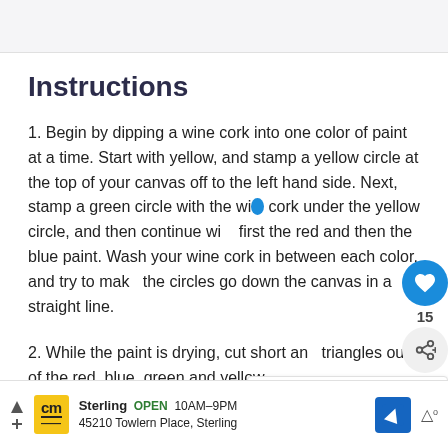Instructions
1. Begin by dipping a wine cork into one color of paint at a time. Start with yellow, and stamp a yellow circle at the top of your canvas off to the left hand side. Next, stamp a green circle with the wine cork under the yellow circle, and then continue with first the red and then the blue paint. Wash your wine cork in between each color, and try to make the circles go down the canvas in a straight line.
2. While the paint is drying, cut short and triangles out of the red, blue, green and yellow
[Figure (infographic): Social media overlay UI showing a blue heart button with count 15 and a share button]
[Figure (infographic): What's Next card showing a Jingle Bell Wreath thumbnail and label]
[Figure (infographic): Advertisement bar for Cost Plus World Market in Sterling, OPEN 10AM-9PM, 45210 Towlern Place, Sterling]